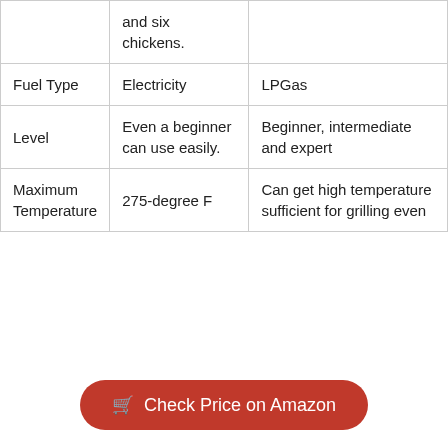|  | and six chickens. |  |
| Fuel Type | Electricity | LPGas |
| Level | Even a beginner can use easily. | Beginner, intermediate and expert |
| Maximum Temperature | 275-degree F | Can get high temperature sufficient for grilling even |
Check Price on Amazon